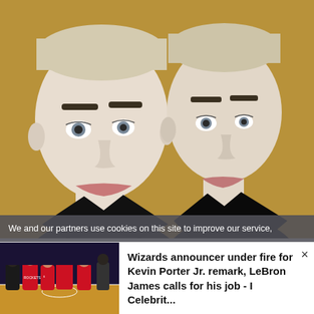[Figure (photo): Two people with platinum blonde buzzcuts and dark eyebrows, wearing black leather jackets, posing for a close-up selfie against a tan/gold background. They appear nearly identical.]
We and our partners use cookies on this site to improve our service,
[Figure (photo): Basketball players in Houston Rockets uniforms on a court]
Wizards announcer under fire for Kevin Porter Jr. remark, LeBron James calls for his job - I Celebrit...